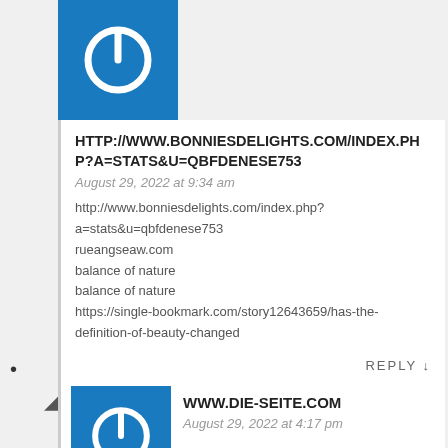[Figure (logo): Blue square with white power/shutdown icon]
HTTP://WWW.BONNIESDELIGHTS.COM/INDEX.PHP?A=STATS&U=QBFDENESE753
August 29, 2022 at 9:34 am
http://www.bonniesdelights.com/index.php?a=stats&u=qbfdenese753
rueangseaw.com
balance of nature
balance of nature
https://single-bookmark.com/story12643659/has-the-definition-of-beauty-changed
REPLY ↓
[Figure (logo): Blue square with white power/shutdown icon]
WWW.DIE-SEITE.COM
August 29, 2022 at 4:17 pm
http://www.die-seite.com